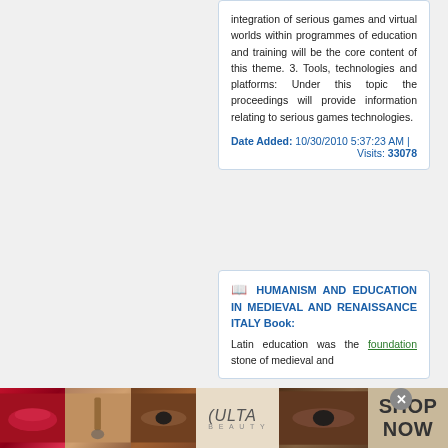integration of serious games and virtual worlds within programmes of education and training will be the core content of this theme. 3. Tools, technologies and platforms: Under this topic the proceedings will provide information relating to serious games technologies.
Date Added: 10/30/2010 5:37:23 AM | Visits: 33078
HUMANISM AND EDUCATION IN MEDIEVAL AND RENAISSANCE ITALY Book:
Latin education was the foundation stone of medieval and
[Figure (photo): Ulta Beauty advertisement banner showing makeup close-ups (lips, brush, eyes) with Ulta Beauty logo and SHOP NOW call to action]